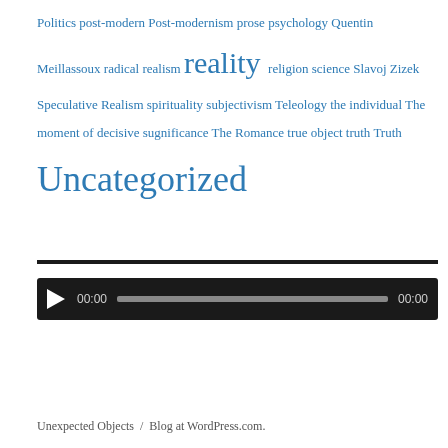Politics post-modern Post-modernism prose psychology Quentin Meillassoux radical realism reality religion science Slavoj Zizek Speculative Realism spirituality subjectivism Teleology the individual The moment of decisive sugnificance The Romance true object truth Truth Uncategorized
[Figure (screenshot): Audio player widget with play button, time display 00:00, progress bar, and end time 00:00 on dark background]
Unexpected Objects / Blog at WordPress.com.